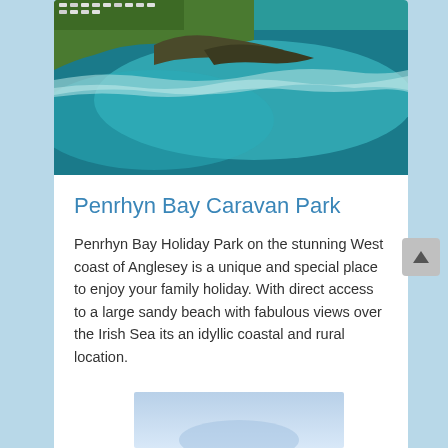[Figure (photo): Aerial photograph of Penrhyn Bay Caravan Park showing coastline, green fields with caravans, rocky shore and turquoise sea water]
Penrhyn Bay Caravan Park
Penrhyn Bay Holiday Park on the stunning West coast of Anglesey is a unique and special place to enjoy your family holiday. With direct access to a large sandy beach with fabulous views over the Irish Sea its an idyllic coastal and rural location.
Llanfwrog
Read more
[Figure (photo): Partially visible photo of a beach or coastal scene with blue sky and water at the bottom of the page]